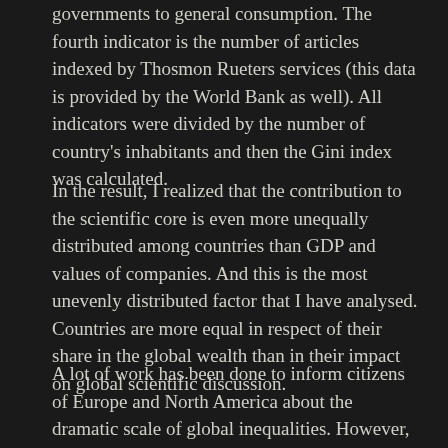governments to general consumption. The fourth indicator is the number of articles indexed by Thosmon Rueters services (this data is provided by the World Bank as well). All indicators were divided by the number of country's inhabitants and then the Gini index was calculated.
In the result, I realized that the contribution to the scientific core is even more unequally distributed among countries than GDP and values of companies. And this is the most unevenly distributed factor that I have analysed. Countries are more equal in respect of their share in the global wealth than in their impact on global scientific discussion.
A lot of work has been done to inform citizens of Europe and North America about the dramatic scale of global inequalities. However, these inequalities are so big, that average people from wealthy countries still do not fully understand what it...